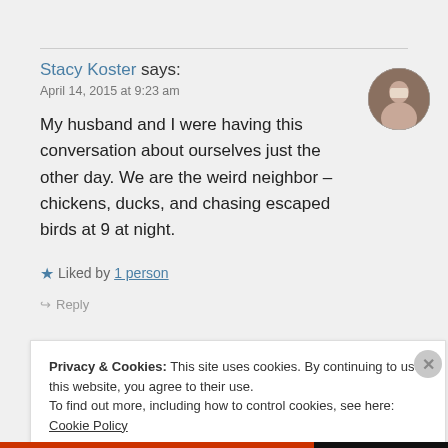Stacy Koster says:
April 14, 2015 at 9:23 am
My husband and I were having this conversation about ourselves just the other day. We are the weird neighbor – chickens, ducks, and chasing escaped birds at 9 at night.
★ Liked by 1 person
↪ Reply
Privacy & Cookies: This site uses cookies. By continuing to use this website, you agree to their use.
To find out more, including how to control cookies, see here: Cookie Policy
Close and accept